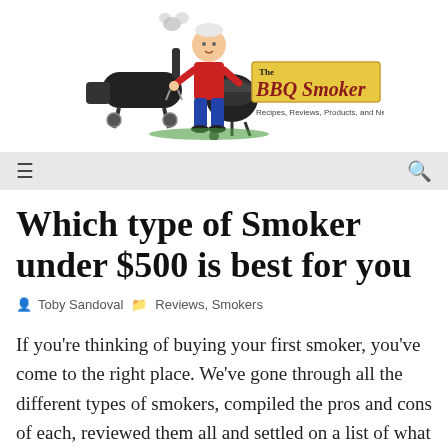[Figure (logo): The BBQ Smoker logo — cartoon man grilling with BBQ smoker, text reads 'The BBQ Smoker — Recipes, Reviews, Products, and News']
Which type of Smoker under $500 is best for you
Toby Sandoval  Reviews, Smokers
If you're thinking of buying your first smoker, you've come to the right place. We've gone through all the different types of smokers, compiled the pros and cons of each, reviewed them all and settled on a list of what we think